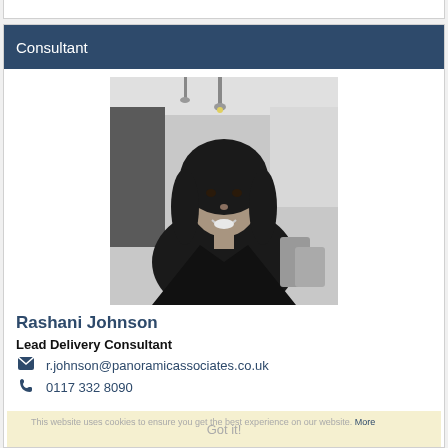Consultant
[Figure (photo): Portrait photo of Rashani Johnson, a young woman with long dark curly hair, wearing a black top, smiling, in a modern restaurant/office interior setting, black and white photo.]
Rashani Johnson
Lead Delivery Consultant
r.johnson@panoramicassociates.co.uk
0117 332 8090
This website uses cookies to ensure you get the best experience on our website. More
Got it!